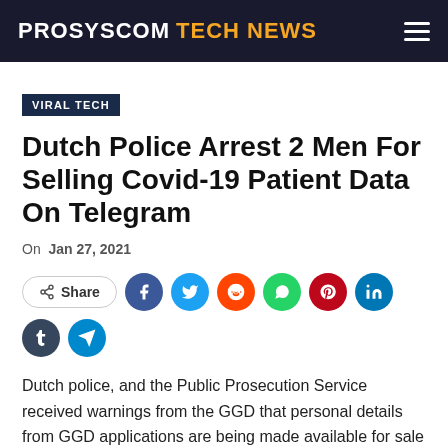PROSYSCOM TECH NEWS
VIRAL TECH
Dutch Police Arrest 2 Men For Selling Covid-19 Patient Data On Telegram
On Jan 27, 2021
Dutch police, and the Public Prosecution Service received warnings from the GGD that personal details from GGD applications are being made available for sale on Telegram. The Central
[Figure (other): Social media share buttons row: Share button, Facebook, Twitter, Reddit, WhatsApp, Pinterest, LinkedIn, Tumblr, Telegram]